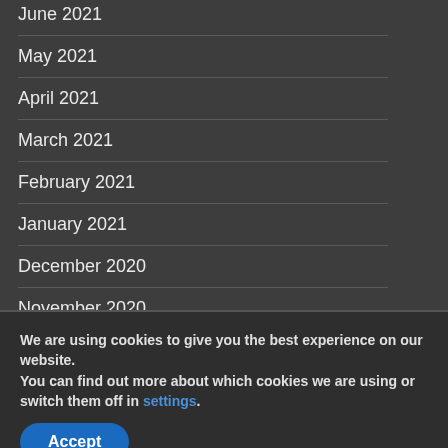June 2021
May 2021
April 2021
March 2021
February 2021
January 2021
December 2020
November 2020
October 2020
September 2020
August 2020
We are using cookies to give you the best experience on our website.
You can find out more about which cookies we are using or switch them off in settings.
Accept